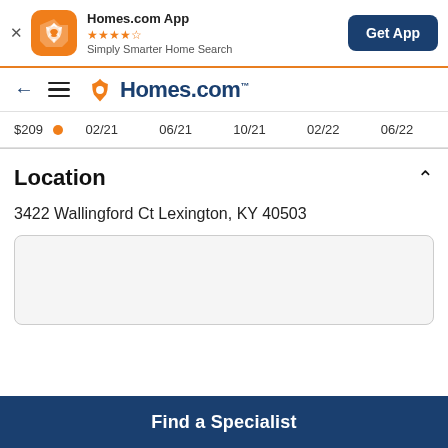[Figure (screenshot): Homes.com app banner with orange icon, 4.5 star rating, tagline 'Simply Smarter Home Search', and 'Get App' dark blue button]
[Figure (screenshot): Homes.com website navigation bar with back arrow, hamburger menu, and Homes.com logo]
$209  02/21  06/21  10/21  02/22  06/22
Location
3422 Wallingford Ct Lexington, KY 40503
[Figure (map): Embedded map area placeholder (white/light gray box)]
Find a Specialist